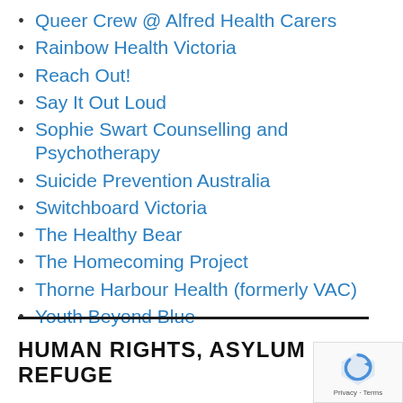Queer Crew @ Alfred Health Carers
Rainbow Health Victoria
Reach Out!
Say It Out Loud
Sophie Swart Counselling and Psychotherapy
Suicide Prevention Australia
Switchboard Victoria
The Healthy Bear
The Homecoming Project
Thorne Harbour Health (formerly VAC)
Youth Beyond Blue
HUMAN RIGHTS, ASYLUM & REFUGE